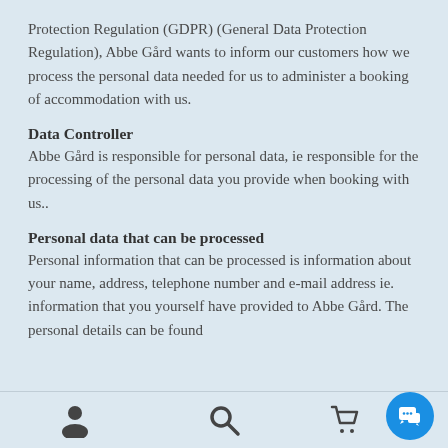Protection Regulation (GDPR) (General Data Protection Regulation), Abbe Gård wants to inform our customers how we process the personal data needed for us to administer a booking of accommodation with us.
Data Controller
Abbe Gård is responsible for personal data, ie responsible for the processing of the personal data you provide when booking with us..
Personal data that can be processed
Personal information that can be processed is information about your name, address, telephone number and e-mail address ie. information that you yourself have provided to Abbe Gård. The personal details can be found